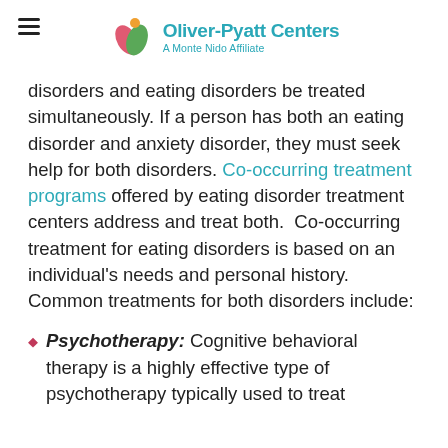Oliver-Pyatt Centers — A Monte Nido Affiliate
disorders and eating disorders be treated simultaneously. If a person has both an eating disorder and anxiety disorder, they must seek help for both disorders. Co-occurring treatment programs offered by eating disorder treatment centers address and treat both.  Co-occurring treatment for eating disorders is based on an individual's needs and personal history. Common treatments for both disorders include:
Psychotherapy: Cognitive behavioral therapy is a highly effective type of psychotherapy typically used to treat